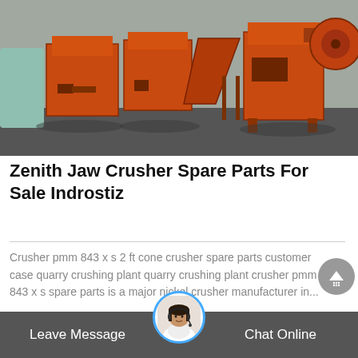[Figure (photo): Orange industrial jaw crusher machines / spare parts shown outdoors on a concrete surface. Multiple orange metal crusher units visible with hoppers and conveyor components.]
Zenith Jaw Crusher Spare Parts For Sale Indrostiz
Crusher pmm 843 x s 2 ft cone crusher spare parts customer case quarry crushing plant quarry crushing plant crusher pmm 843 x s spare parts is a major nickel crusher manufacturer in...
See Details
Leave Message  Chat Online